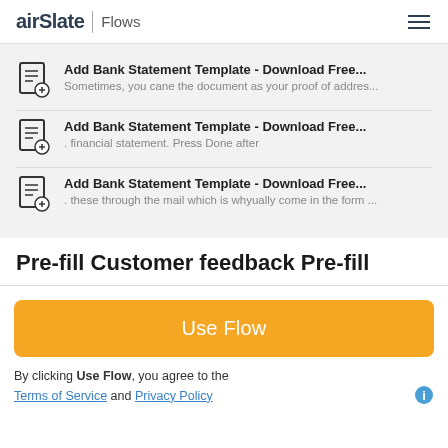airSlate | Flows
Add Bank Statement Template - Download Free... Sometimes, you cane the document as your proof of addres...
Add Bank Statement Template - Download Free... . financial statement. Press Done after
Add Bank Statement Template - Download Free... . these through the mail which is whyually come in the form ...
Pre-fill Customer feedback Pre-fill
Use Flow
By clicking Use Flow, you agree to the Terms of Service and Privacy Policy